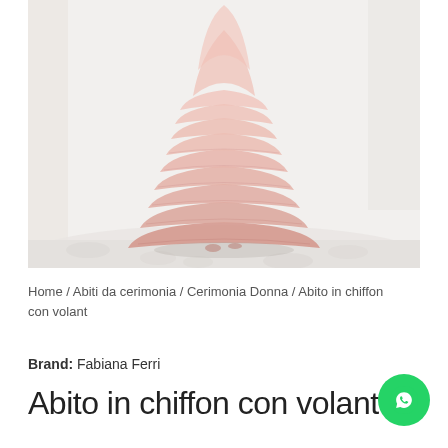[Figure (photo): A pink chiffon ruffled/tiered ballgown skirt photographed on a white fluffy surface against a white background. The skirt has multiple horizontal ruffle tiers in a dusty rose/blush pink color.]
Home / Abiti da cerimonia / Cerimonia Donna / Abito in chiffon con volant
Brand: Fabiana Ferri
Abito in chiffon con volant